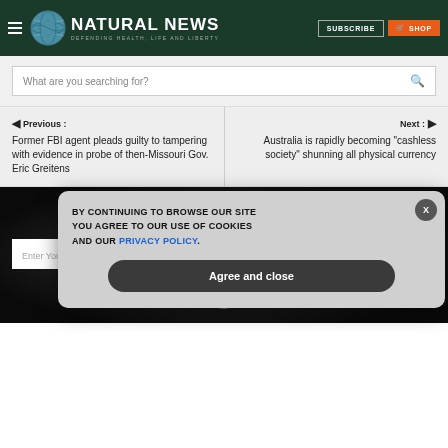NATURAL NEWS — DEFENDING HEALTH, LIFE AND LIBERTY
What are you searching for?
Previous : Former FBI agent pleads guilty to tampering with evidence in probe of then-Missouri Gov. Eric Greitens
Next : Australia is rapidly becoming "cashless society" shunning all physical currency
GET THE WORLD'S BEST NATURAL HEALTH NEWSLETTER DELIVERED STRAIGHT TO YOUR INBOX
BY CONTINUING TO BROWSE OUR SITE YOU AGREE TO OUR USE OF COOKIES AND OUR PRIVACY POLICY. Agree and close